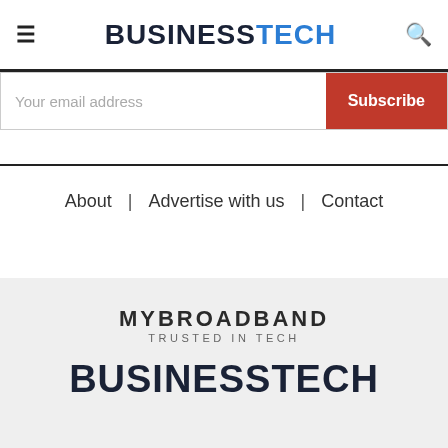BUSINESSTECH
Your email address
Subscribe
About  |  Advertise with us  |  Contact
[Figure (logo): MYBROADBAND - TRUSTED IN TECH logo]
[Figure (logo): BUSINESSTECH logo large]